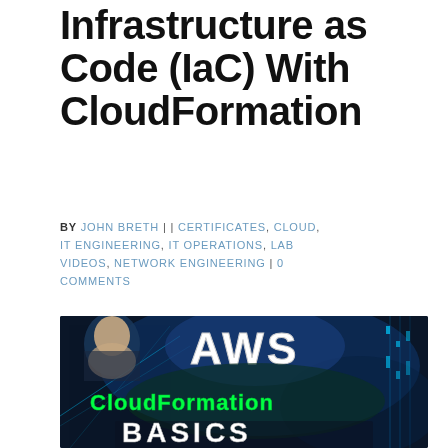Infrastructure as Code (IaC) With CloudFormation
BY JOHN BRETH | | CERTIFICATES, CLOUD, IT ENGINEERING, IT OPERATIONS, LAB VIDEOS, NETWORK ENGINEERING | 0 COMMENTS
[Figure (photo): Thumbnail image for AWS CloudFormation video with text 'AWS CloudFormation Basics' in neon green and white lettering on a dark blue background, with a person's face visible in the upper left]